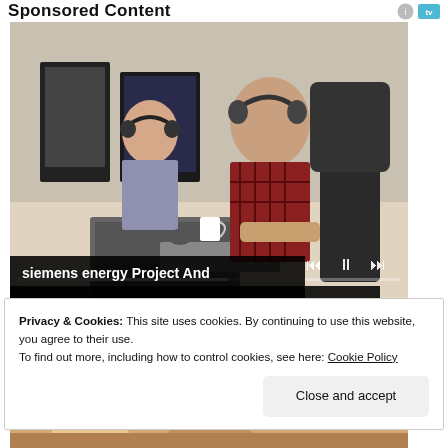Sponsored Content
[Figure (photo): Two office workers wearing headphones working at computers in an open-plan office. Man in plaid shirt in foreground, woman in background. Media player controls visible at bottom right of image. Text overlay reads: siemens energy Project And...]
Privacy & Cookies: This site uses cookies. By continuing to use this website, you agree to their use.
To find out more, including how to control cookies, see here: Cookie Policy
Close and accept